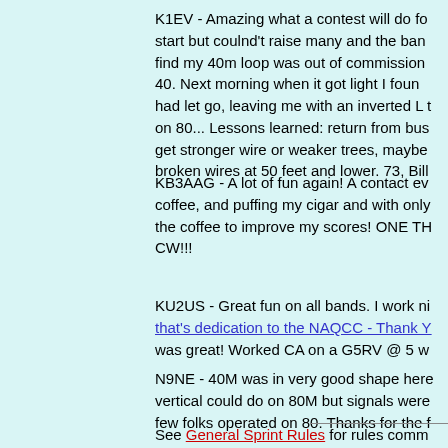K1EV - Amazing what a contest will do for motivation! Slow start but coulnd't raise many and the band... find my 40m loop was out of commission... 40. Next morning when it got light I found... had let go, leaving me with an inverted L t on 80... Lessons learned: return from bus... get stronger wire or weaker trees, maybe... broken wires at 50 feet and lower. 73, Bill
KB3AAG - A lot of fun again! A contact ev... coffee, and puffing my cigar and with only... the coffee to improve my scores! ONE TH... CW!!!
KU2US - Great fun on all bands. I work ni... that's dedication to the NAQCC - Thank Y... was great! Worked CA on a G5RV @ 5 w...
N9NE - 40M was in very good shape here... vertical could do on 80M but signals were... few folks operated on 80. Thanks for the f...
See General Sprint Rules for rules comm...